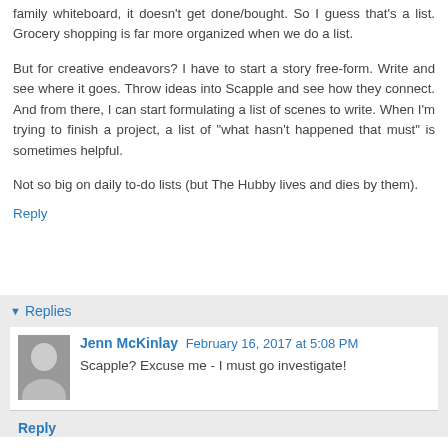family whiteboard, it doesn't get done/bought. So I guess that's a list. Grocery shopping is far more organized when we do a list.
But for creative endeavors? I have to start a story free-form. Write and see where it goes. Throw ideas into Scapple and see how they connect. And from there, I can start formulating a list of scenes to write. When I'm trying to finish a project, a list of "what hasn't happened that must" is sometimes helpful.
Not so big on daily to-do lists (but The Hubby lives and dies by them).
Reply
Replies
Jenn McKinlay  February 16, 2017 at 5:08 PM
Scapple? Excuse me - I must go investigate!
Reply